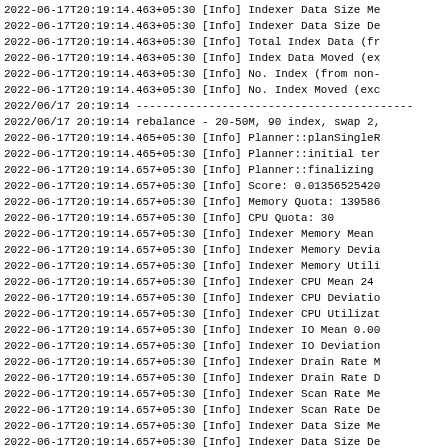2022-06-17T20:19:14.463+05:30 [Info] Indexer Data Size Me
2022-06-17T20:19:14.463+05:30 [Info] Indexer Data Size De
2022-06-17T20:19:14.463+05:30 [Info] Total Index Data (fr
2022-06-17T20:19:14.463+05:30 [Info] Index Data Moved (ex
2022-06-17T20:19:14.463+05:30 [Info] No. Index (from non-
2022-06-17T20:19:14.463+05:30 [Info] No. Index Moved (exc
2022/06/17 20:19:14 ------------------------------------------
2022/06/17 20:19:14 rebalance - 20-50M, 90 index, swap 2,
2022-06-17T20:19:14.465+05:30 [Info] Planner::planSingleR
2022-06-17T20:19:14.465+05:30 [Info] Planner::initial ter
2022-06-17T20:19:14.657+05:30 [Info] Planner::finalizing
2022-06-17T20:19:14.657+05:30 [Info] Score: 0.013565254200
2022-06-17T20:19:14.657+05:30 [Info] Memory Quota: 139586
2022-06-17T20:19:14.657+05:30 [Info] CPU Quota: 30
2022-06-17T20:19:14.657+05:30 [Info] Indexer Memory Mean
2022-06-17T20:19:14.657+05:30 [Info] Indexer Memory Devia
2022-06-17T20:19:14.657+05:30 [Info] Indexer Memory Utili
2022-06-17T20:19:14.657+05:30 [Info] Indexer CPU Mean 24
2022-06-17T20:19:14.657+05:30 [Info] Indexer CPU Deviatio
2022-06-17T20:19:14.657+05:30 [Info] Indexer CPU Utilizat
2022-06-17T20:19:14.657+05:30 [Info] Indexer IO Mean 0.00
2022-06-17T20:19:14.657+05:30 [Info] Indexer IO Deviation
2022-06-17T20:19:14.657+05:30 [Info] Indexer Drain Rate M
2022-06-17T20:19:14.657+05:30 [Info] Indexer Drain Rate D
2022-06-17T20:19:14.657+05:30 [Info] Indexer Scan Rate Me
2022-06-17T20:19:14.657+05:30 [Info] Indexer Scan Rate De
2022-06-17T20:19:14.657+05:30 [Info] Indexer Data Size Me
2022-06-17T20:19:14.657+05:30 [Info] Indexer Data Size De
2022-06-17T20:19:14.657+05:30 [Info] Total Index Data (fu
2022-06-17T20:19:14.657+05:30 [Info] Index Data Moved (ex